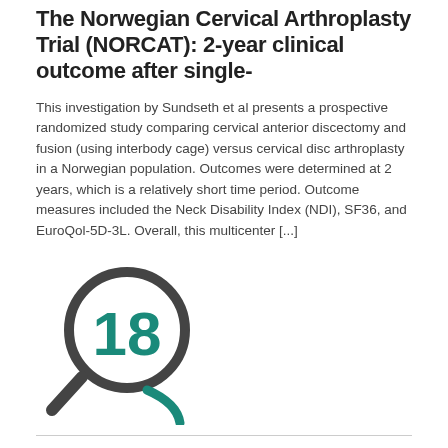The Norwegian Cervical Arthroplasty Trial (NORCAT): 2-year clinical outcome after single-
This investigation by Sundseth et al presents a prospective randomized study comparing cervical anterior discectomy and fusion (using interbody cage) versus cervical disc arthroplasty in a Norwegian population. Outcomes were determined at 2 years, which is a relatively short time period. Outcome measures included the Neck Disability Index (NDI), SF36, and EuroQol-5D-3L. Overall, this multicenter [...]
[Figure (illustration): A magnifying glass icon with the number 18 displayed inside the lens in teal/dark teal color, and a teal curved line beneath suggesting a question mark or search symbol. The magnifying glass outline and handle are in dark grey.]
READ MORE →
NO COMMENTS